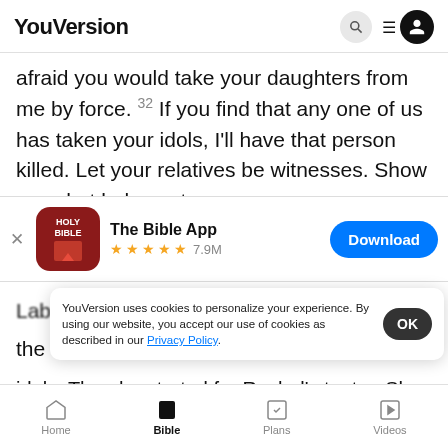YouVersion
afraid you would take your daughters from me by force. 32 If you find that any one of us has taken your idols, I'll have that person killed. Let your relatives be witnesses. Show me what belongs to
[Figure (screenshot): App store banner for The Bible App with Holy Bible icon, 5-star rating, 7.9M reviews, and Download button]
Laban searched the tents of Jacob. Leah... the two idols. Then he started for Rachel's tent. She had
YouVersion uses cookies to personalize your experience. By using our website, you accept our use of cookies as described in our Privacy Policy.
Home  Bible  Plans  Videos